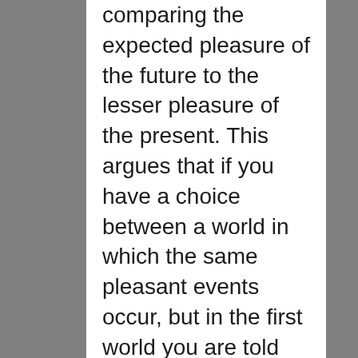comparing the expected pleasure of the future to the lesser pleasure of the present. This argues that if you have a choice between a world in which the same pleasant events occur, but in the first world you are told about them long in advance, and in the second world they are kept secret until they